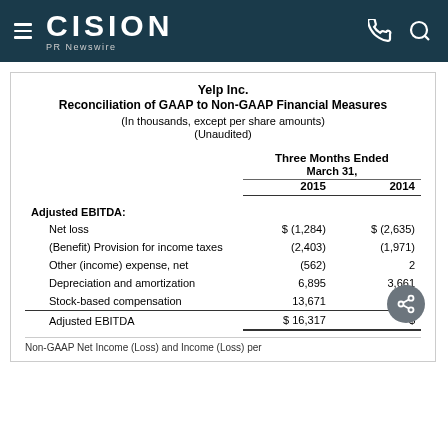CISION PR Newswire
Yelp Inc.
Reconciliation of GAAP to Non-GAAP Financial Measures
(In thousands, except per share amounts)
(Unaudited)
|  | Three Months Ended March 31, 2015 | Three Months Ended March 31, 2014 |
| --- | --- | --- |
| Adjusted EBITDA: |  |  |
| Net loss | $ (1,284) | $ (2,635) |
| (Benefit) Provision for income taxes | (2,403) | (1,971) |
| Other (income) expense, net | (562) | 2 |
| Depreciation and amortization | 6,895 | 3,661 |
| Stock-based compensation | 13,671 | 9,456 |
| Adjusted EBITDA | $ 16,317 | $ [partially obscured] |
Non-GAAP Net Income (Loss) and Income (Loss) per